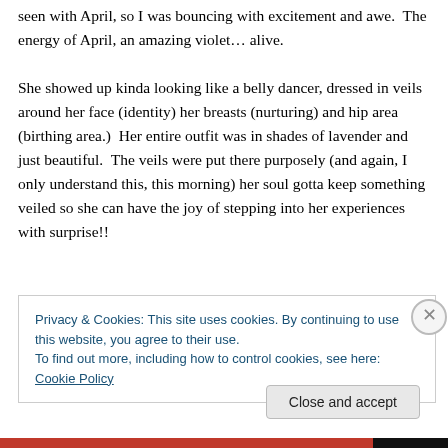seen with April, so I was bouncing with excitement and awe.  The energy of April, an amazing violet… alive.

She showed up kinda looking like a belly dancer, dressed in veils around her face (identity) her breasts (nurturing) and hip area (birthing area.)  Her entire outfit was in shades of lavender and just beautiful.  The veils were put there purposely (and again, I only understand this, this morning) her soul gotta keep something veiled so she can have the joy of stepping into her experiences with surprise!!
Privacy & Cookies: This site uses cookies. By continuing to use this website, you agree to their use.
To find out more, including how to control cookies, see here: Cookie Policy
Close and accept